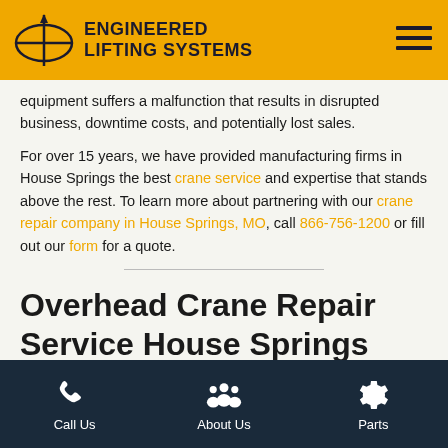ENGINEERED LIFTING SYSTEMS
equipment suffers a malfunction that results in disrupted business, downtime costs, and potentially lost sales.
For over 15 years, we have provided manufacturing firms in House Springs the best crane service and expertise that stands above the rest. To learn more about partnering with our crane repair company in House Springs, MO, call 866-756-1200 or fill out our form for a quote.
Overhead Crane Repair Service House Springs
At Engineered Lifting Systems, our team is composed of the best crane mechanics, technicians, electricians, and riggers available in
Call Us | About Us | Parts